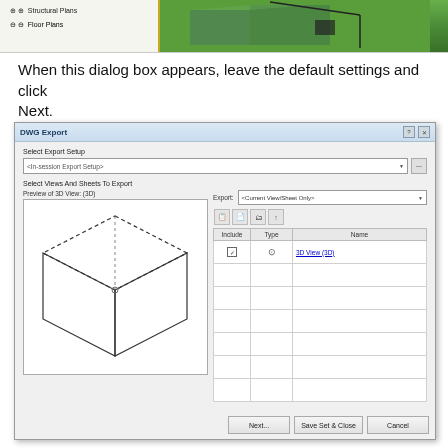[Figure (screenshot): Top portion of a CAD application showing a tree panel with Structural Plans and Floor Plans items, and a 3D building view with green background]
When this dialog box appears, leave the default settings and click Next.
[Figure (screenshot): DWG Export dialog box showing Select Export Setup with dropdown '<In-session Export Setup>', Select Views And Sheets To Export section with a 3D box preview on left, Export dropdown '<Current View/Sheet Only>', and a table with Include, Type, Name columns showing '3D View (3D)' entry. Bottom buttons: Next..., Save Set & Close, Cancel.]